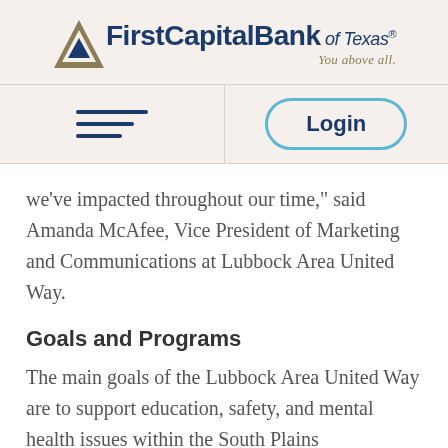[Figure (logo): First Capital Bank of Texas logo with triangle icon and tagline 'You above all.']
[Figure (other): Navigation bar with hamburger menu on left and Login button on right]
we've impacted throughout our time," said Amanda McAfee, Vice President of Marketing and Communications at Lubbock Area United Way.
Goals and Programs
The main goals of the Lubbock Area United Way are to support education, safety, and mental health issues within the South Plains communities.